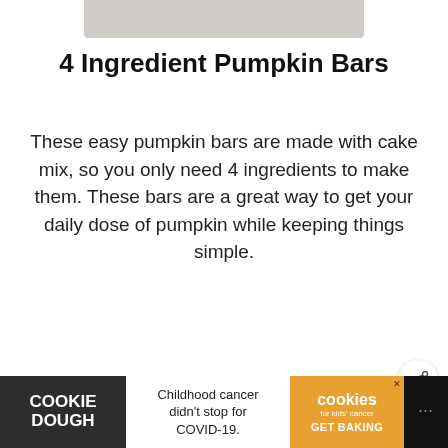[Figure (photo): Partial view of a white plate or bowl, cropped at top of page]
4 Ingredient Pumpkin Bars
These easy pumpkin bars are made with cake mix, so you only need 4 ingredients to make them. These bars are a great way to get your daily dose of pumpkin while keeping things simple.
[Figure (other): READ MORE button (teal/green rectangle)]
[Figure (other): WHAT'S NEXT panel showing thumbnail of fried chicken with text: Air Fryer Fried Chicken KF...]
[Figure (other): Advertisement banner: COOKIE DOUGH | Childhood cancer didn't stop for COVID-19. | cookies for kids cancer GET BAKING]